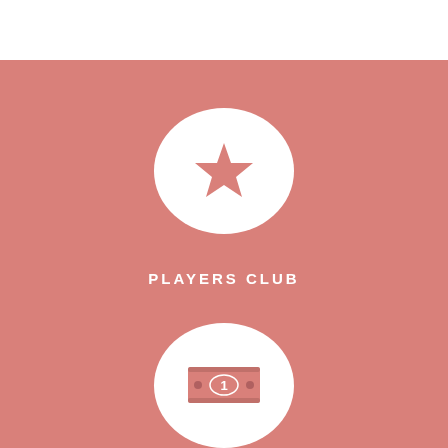[Figure (illustration): White circle with a star icon on a salmon/rose-pink background]
PLAYERS CLUB
[Figure (illustration): White circle with a dollar bill / money icon on a salmon/rose-pink background]